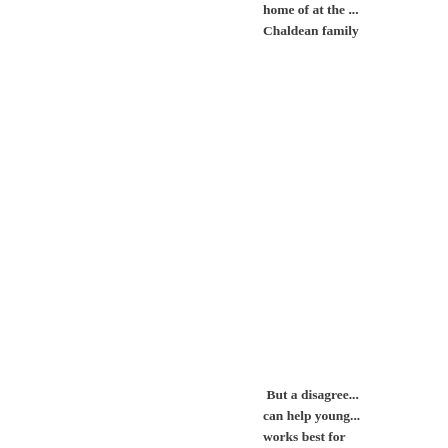home of at the ... Chaldean family
But a disagree... can help young... works best for